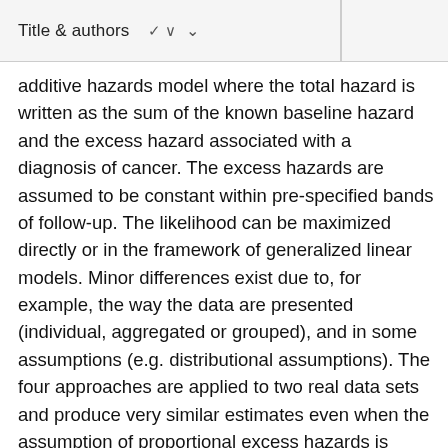Title & authors
additive hazards model where the total hazard is written as the sum of the known baseline hazard and the excess hazard associated with a diagnosis of cancer. The excess hazards are assumed to be constant within pre-specified bands of follow-up. The likelihood can be maximized directly or in the framework of generalized linear models. Minor differences exist due to, for example, the way the data are presented (individual, aggregated or grouped), and in some assumptions (e.g. distributional assumptions). The four approaches are applied to two real data sets and produce very similar estimates even when the assumption of proportional excess hazards is violated. The choice of approach to use in practice can, therefore, be guided by ease of use and availability of software. We recommend using a generalized linear model with a Poisson error structure based on collapsed data using exact survival times. The model can be